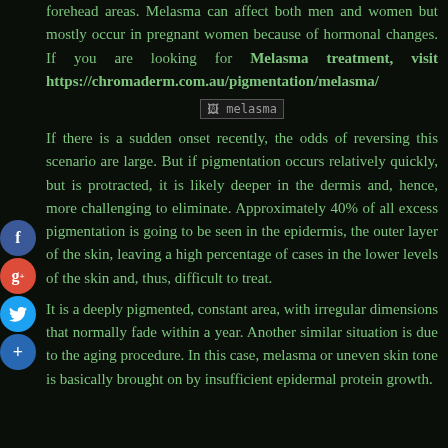forehead areas. Melasma can affect both men and women but mostly occur in pregnant women because of hormonal changes. If you are looking for Melasma treatment, visit https://chromaderm.com.au/pigmentation/melasma/
[Figure (other): Placeholder image labeled 'melasma']
If there is a sudden onset recently, the odds of reversing this scenario are large. But if pigmentation occurs relatively quickly, but is protracted, it is likely deeper in the dermis and, hence, more challenging to eliminate. Approximately 40% of all excess pigmentation is going to be seen in the epidermis, the outer layer of the skin, leaving a high percentage of cases in the lower levels of the skin and, thus, difficult to treat.
It is a deeply pigmented, constant area, with irregular dimensions that normally fade within a year. Another similar situation is due to the aging procedure. In this case, melasma or uneven skin tone is basically brought on by insufficient epidermal protein growth.